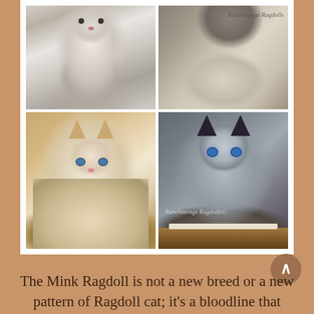[Figure (photo): A 2x2 collage of Ragdoll cats on a white background. Top-left: fluffy white/cream kitten sitting upright. Top-right: light-colored cat lounging on a beige cat bed with 'Ranchinragz Ragdolls' watermark. Bottom-left: tan and white Ragdoll cat with blue eyes lying on a surface. Bottom-right: dark Himalayan/seal-point Ragdoll cat with striking blue eyes resting on a wooden shelf, with 'Ranchinragz Ragdolls©' watermark.]
The Mink Ragdoll is not a new breed or a new pattern of Ragdoll cat; it's a bloodline that